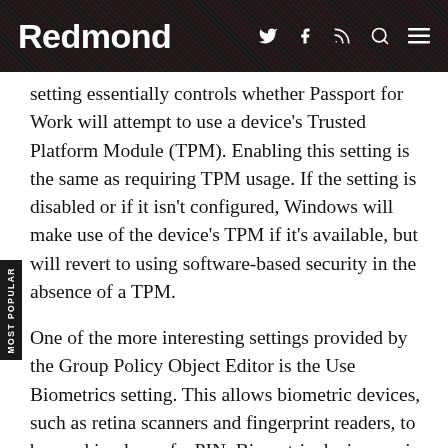Redmond
setting essentially controls whether Passport for Work will attempt to use a device's Trusted Platform Module (TPM). Enabling this setting is the same as requiring TPM usage. If the setting is disabled or if it isn't configured, Windows will make use of the device's TPM if it's available, but will revert to using software-based security in the absence of a TPM.
One of the more interesting settings provided by the Group Policy Object Editor is the Use Biometrics setting. This allows biometric devices, such as retina scanners and fingerprint readers, to be used in place of a PIN. Biometric device use is allowed by default (or by enabling this setting). Disabling Use Biometrics means Windows will